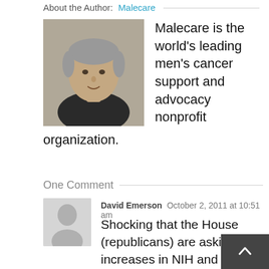About the Author: Malecare
[Figure (photo): Headshot photo of a middle-aged man with gray hair wearing a dark shirt]
Malecare is the world's leading men's cancer support and advocacy nonprofit organization.
One Comment
[Figure (photo): Generic gray silhouette avatar for commenter David Emerson]
David Emerson  October 2, 2011 at 10:51 am
Shocking that the House (republicans) are asking for increases in NIH and NCI funding and the Senate (democrats) are proposing cuts to both. Cats